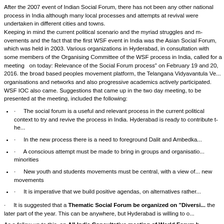After the 2007 event of Indian Social Forum, there has not been any other national process in India although many local processes and attempts at revival were undertaken in different cities and towns. Keeping in mind the current political scenario and the myriad struggles and movements, and the fact that the first WSF event in India was the Asian Social Forum, which was held in 2003. Various organizations in Hyderabad, in consultation with some members of the Organising Committee of the WSF process in India, called for a meeting on today: Relevance of the Social Forum process" on February 19 and 20, 2016. The broad based peoples movement platform, the Telangana Vidyavantula Ve... organisations and networks and also progressive academics actively participated. WSF IOC also came. Suggestions that came up in the two day meeting, to be presented at the meeting, included the following:
· The social forum is a useful and relevant process in the current political context to try and revive the process in India. Hyderabad is ready to contribute t...
· In the new process there is a need to foreground Dalit and Ambedka...
· A conscious attempt must be made to bring in groups and organisati... minorities
· New youth and students movements must be central, with a view of... new movements
· It is imperative that we build positive agendas, on alternatives rather...
· It is suggested that a Thematic Social Forum be organized on "Diversi... the later part of the year. This can be anywhere, but Hyderabad is willing to o...
As a follow up to this, an All India Consultative meeting of World Forum h...